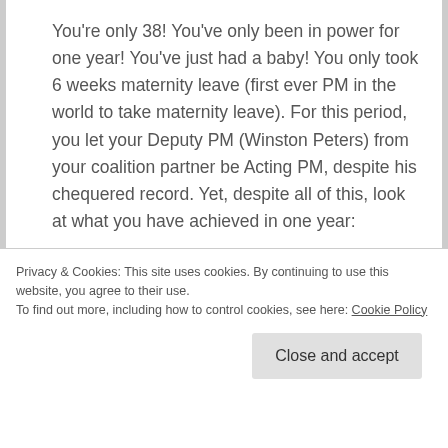You're only 38! You've only been in power for one year! You've just had a baby! You only took 6 weeks maternity leave (first ever PM in the world to take maternity leave). For this period, you let your Deputy PM (Winston Peters) from your coalition partner be Acting PM, despite his chequered record. Yet, despite all of this, look at what you have achieved in one year:
– Increased the minimum wage
– Frozen MP's salaries
– Set a Zero Carbon Emissions Goal and established an independent Climate Change
Privacy & Cookies: This site uses cookies. By continuing to use this website, you agree to their use. To find out more, including how to control cookies, see here: Cookie Policy
– Banned overseas investment in existing residential